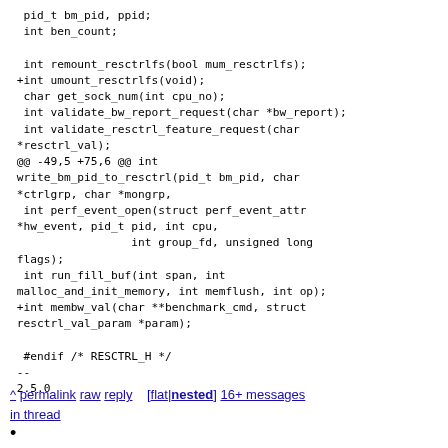pid_t bm_pid, ppid;
 int ben_count;

 int remount_resctrlfs(bool mum_resctrlfs);
+int umount_resctrlfs(void);
 char get_sock_num(int cpu_no);
 int validate_bw_report_request(char *bw_report);
 int validate_resctrl_feature_request(char *resctrl_val);
@@ -49,5 +75,6 @@ int write_bm_pid_to_resctrl(pid_t bm_pid, char *ctrlgrp, char *mongrp,
 int perf_event_open(struct perf_event_attr *hw_event, pid_t pid, int cpu,
                 int group_fd, unsigned long flags);
 int run_fill_buf(int span, int malloc_and_init_memory, int memflush, int op);
+int membw_val(char **benchmark_cmd, struct resctrl_val_param *param);

 #endif /* RESCTRL_H */
--
2.5.0
^ permalink raw reply    [flat|nested] 16+ messages in thread
•